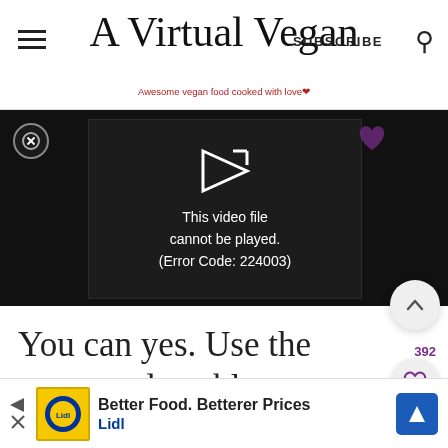A Virtual Vegan — Awesome vegan food cooked with love
[Figure (screenshot): Video player showing error message: This video file cannot be played. (Error Code: 224003)]
You can yes. Use the water and a tablespoon or two of the sugar from the
[Figure (other): Advertisement: Better Food. Betterer Prices - Lidl]